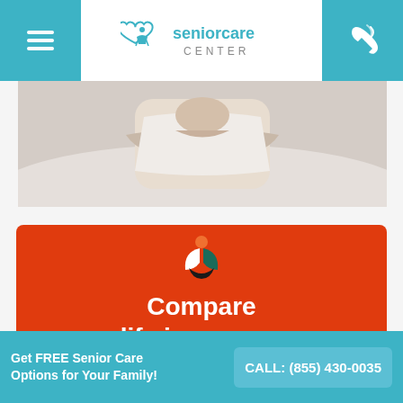seniorcare CENTER
[Figure (photo): Close-up photo of a person clutching their chest/arms, white background]
[Figure (infographic): Red promotional card with Mutual of Omaha-style leaf logo and text 'Compare life insurance']
Get FREE Senior Care Options for Your Family!
CALL: (855) 430-0035